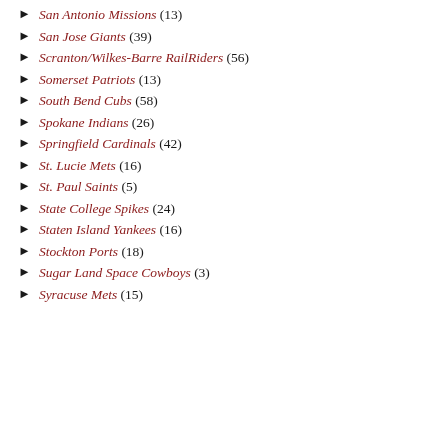San Antonio Missions (13)
San Jose Giants (39)
Scranton/Wilkes-Barre RailRiders (56)
Somerset Patriots (13)
South Bend Cubs (58)
Spokane Indians (26)
Springfield Cardinals (42)
St. Lucie Mets (16)
St. Paul Saints (5)
State College Spikes (24)
Staten Island Yankees (16)
Stockton Ports (18)
Sugar Land Space Cowboys (3)
Syracuse Mets (15)